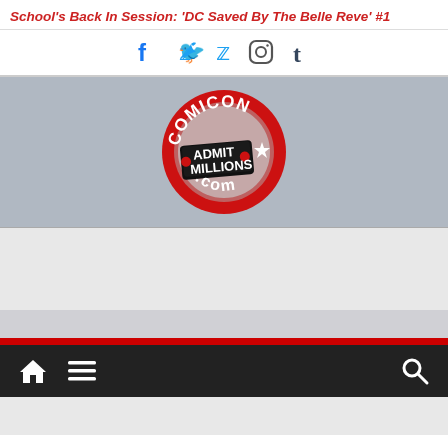School's Back In Session: 'DC Saved By The Belle Reve' #1
[Figure (infographic): Social media icons: Facebook, Twitter, Instagram, Tumblr]
[Figure (logo): Comicon.com circular logo with ticket graphic reading ADMIT MILLIONS]
[Figure (other): Advertisement placeholder block (light gray)]
[Figure (other): Navigation bar with home icon, hamburger menu icon, and search icon on dark background with red stripe above]